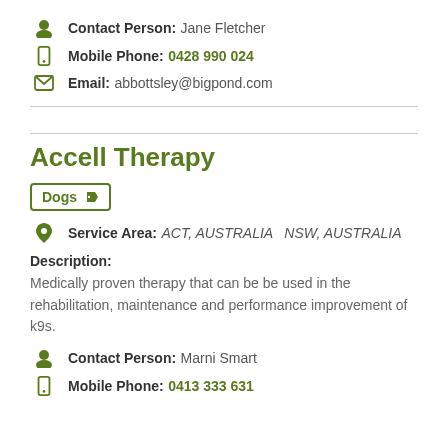Contact Person: Jane Fletcher
Mobile Phone: 0428 990 024
Email: abbottsley@bigpond.com
Accell Therapy
Dogs
Service Area: ACT, AUSTRALIA  NSW, AUSTRALIA
Description:
Medically proven therapy that can be be used in the rehabilitation, maintenance and performance improvement of k9s.
Contact Person: Marni Smart
Mobile Phone: 0413 333 631